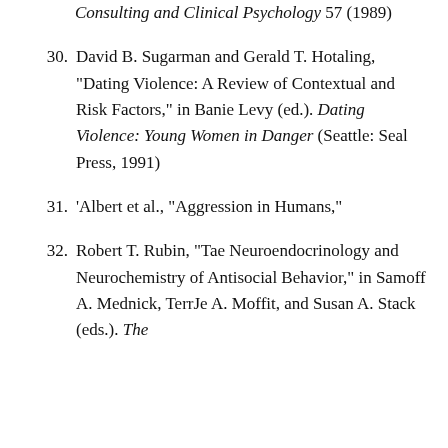(continuation) Longitudinal Analysis, Journal of Consulting and Clinical Psychology 57 (1989)
30. David B. Sugarman and Gerald T. Hotaling, "Dating Violence: A Review of Contextual and Risk Factors," in Banie Levy (ed.). Dating Violence: Young Women in Danger (Seattle: Seal Press, 1991)
31. 'Albert et al., "Aggression in Humans,"
32. Robert T. Rubin, "Tae Neuroendocrinology and Neurochemistry of Antisocial Behavior," in Samoff A. Mednick, TerrJe A. Moffit, and Susan A. Stack (eds.). The